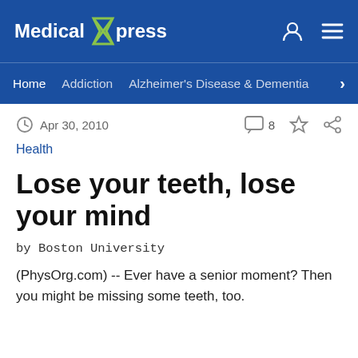Medical Xpress
Home  Addiction  Alzheimer's Disease & Dementia
Apr 30, 2010  8
Health
Lose your teeth, lose your mind
by Boston University
(PhysOrg.com) -- Ever have a senior moment? Then you might be missing some teeth, too.